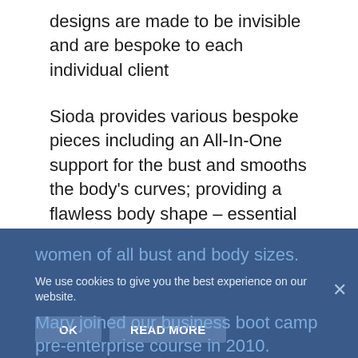designs are made to be invisible and are bespoke to each individual client
Sioda provides various bespoke pieces including an All-In-One support for the bust and smooths the body's curves; providing a flawless body shape – essential for even the slinkiest of today's wedding gowns. Sioda also specialises in underwear for dresses with features below the bra line, for women of all bust and body sizes.
We use cookies to give you the best experience on our website.
Mary joined our business boot camp pre-enterprise course in 2010.